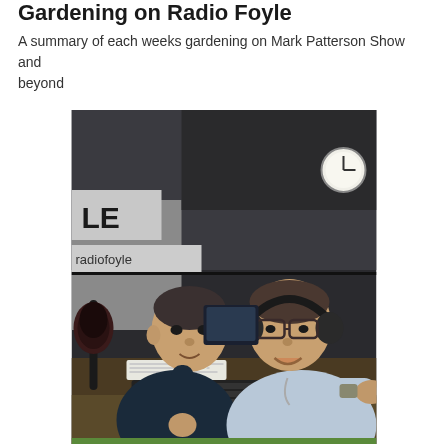Gardening on Radio Foyle
A summary of each weeks gardening on Mark Patterson Show and beyond
[Figure (photo): Two men sitting at a radio studio desk. The man on the left is in a dark t-shirt and holds a small plant seedling in a bottle. The man on the right wears glasses, headphones, and a light blue polo shirt. A microphone, keyboard, and studio equipment are visible. A sign reading 'LE' and 'radiofoyle' is visible in the background.]